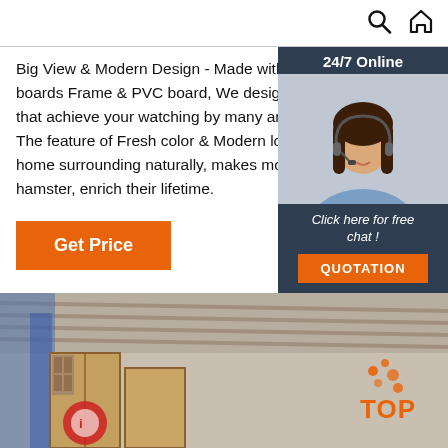search home
Big View & Modern Design - Made with high-quality MDF boards Frame & PVC board, We designed 3 view windows that achieve your watching by many angles and directions. The feature of Fresh color & Modern looking match your home surrounding naturally, makes more time with your hamster, enrich their lifetime.
[Figure (photo): Customer service chat widget with photo of woman wearing headset, 24/7 Online banner, Click here for free chat text, and QUOTATION button]
[Figure (photo): Interior view of a shipping container or warehouse with wooden crates and boxes, with a TOP logo overlay in the bottom right corner]